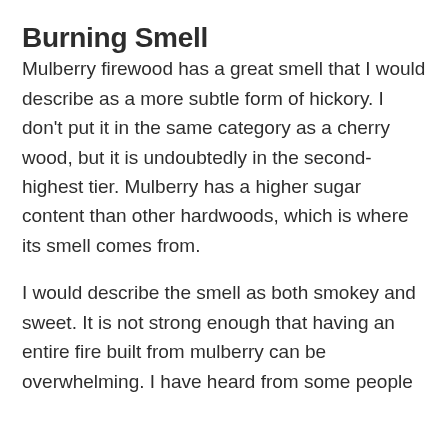Burning Smell
Mulberry firewood has a great smell that I would describe as a more subtle form of hickory. I don't put it in the same category as a cherry wood, but it is undoubtedly in the second-highest tier. Mulberry has a higher sugar content than other hardwoods, which is where its smell comes from.
I would describe the smell as both smokey and sweet. It is not strong enough that having an entire fire built from mulberry can be overwhelming. I have heard from some people